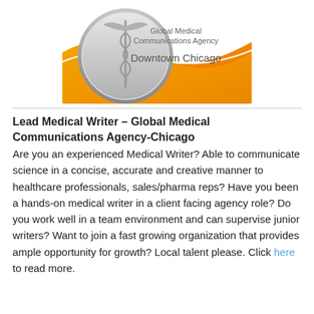[Figure (logo): Global Medical Communications Agency Downtown Chicago logo with caduceus symbol on silver circle over golden/orange wave background]
Lead Medical Writer – Global Medical Communications Agency-Chicago
Are you an experienced Medical Writer? Able to communicate science in a concise, accurate and creative manner to healthcare professionals, sales/pharma reps? Have you been a hands-on medical writer in a client facing agency role? Do you work well in a team environment and can supervise junior writers? Want to join a fast growing organization that provides ample opportunity for growth? Local talent please. Click here to read more.